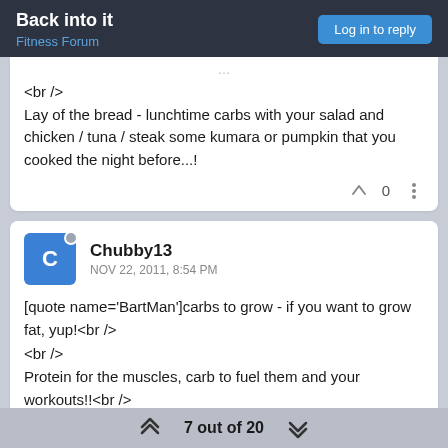Back into it
Fitness Forum
Log in to reply
<br />
Lay of the bread - lunchtime carbs with your salad and chicken / tuna / steak some kumara or pumpkin that you cooked the night before...!
Chubby13  NOV 22, 2011, 8:54 PM
[quote name='BartMan']carbs to grow - if you want to grow fat, yup!<br />
<br />
Protein for the muscles, carb to fuel them and your workouts!!<br />
<br />
Decent breaky - get stuck into whole grain rolled oats,
7 out of 20